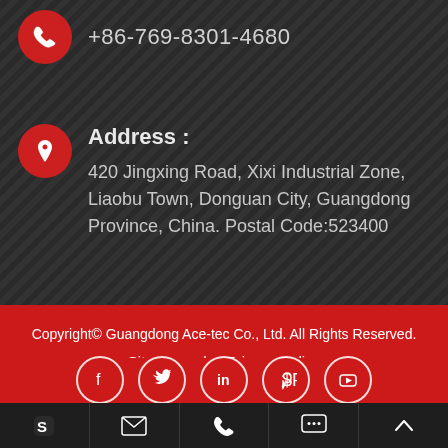+86-769-8301-4680
Address :
420 Jingxing Road, Xixi Industrial Zone, Liaobu Town, Donguan City, Guangdong Province, China. Postal Code:523400
Copyright© Guangdong Ace-tec Co., Ltd. All Rights Reserved.
Sitemap  |  Privacy Policy